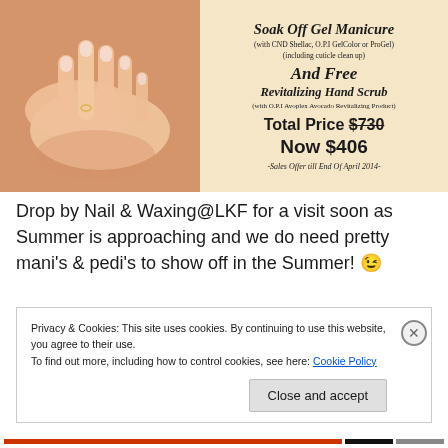[Figure (photo): Promotional image for a nail salon. Left half shows a woman's hands with manicured nails resting on a peach/terracotta surface. Right half on a light tan background contains script and bold text advertising a Soak Off Gel Manicure with CND Shellac, O.P.I GelColor or ProGel (including cuticle clean up), And Free Revitalizing Hand Scrub (with O.P.I Avoplex Avocado Revitalizing Product), Total Price $730 (struck through), Now $406, Sales Offer till End Of April 2014.]
Drop by Nail & Waxing@LKF for a visit soon as Summer is approaching and we do need pretty mani's & pedi's to show off in the Summer! 😉
Privacy & Cookies: This site uses cookies. By continuing to use this website, you agree to their use. To find out more, including how to control cookies, see here: Cookie Policy